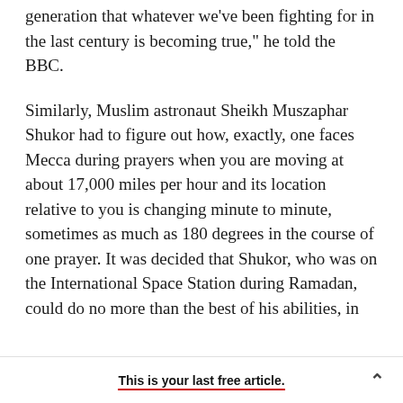generation that whatever we've been fighting for in the last century is becoming true," he told the BBC.
Similarly, Muslim astronaut Sheikh Muszaphar Shukor had to figure out how, exactly, one faces Mecca during prayers when you are moving at about 17,000 miles per hour and its location relative to you is changing minute to minute, sometimes as much as 180 degrees in the course of one prayer. It was decided that Shukor, who was on the International Space Station during Ramadan, could do no more than the best of his abilities, in
This is your last free article.